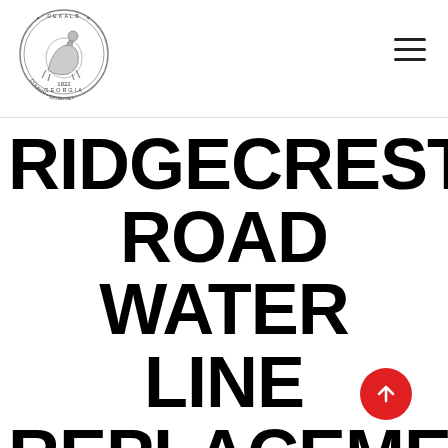DeKalb County Georgia — site header with logo and navigation menu
RIDGECREST ROAD WATER LINE REPLACEMENT PROJECT BEGINS JUNE 13